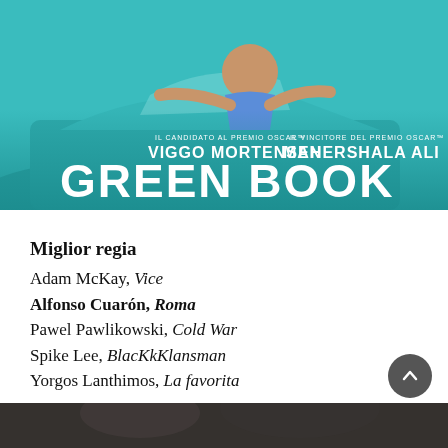[Figure (photo): Movie poster for Green Book featuring Viggo Mortensen and Mahershala Ali, with a teal/turquoise car. Text reads: IL CANDIDATO AL PREMIO OSCAR - VIGGO MORTENSEN, IL VINCITORE DEL PREMIO OSCAR - MAHERSHALA ALI, GREEN BOOK]
Miglior regia
Adam McKay, Vice
Alfonso Cuarón, Roma
Pawel Pawlikowski, Cold War
Spike Lee, BlacKkKlansman
Yorgos Lanthimos, La favorita
[Figure (photo): Partial image visible at bottom of page, dark colored]